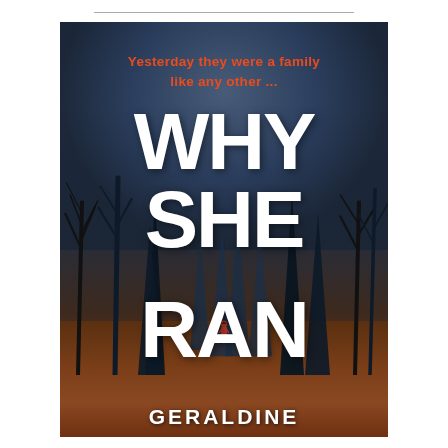[Figure (illustration): Book cover for 'Why She Ran' by Geraldine Horan. Dark atmospheric forest scene with stormy sky, bare trees silhouetted against a blue-grey sky, a figure in a red coat running through the forest floor covered in red/orange leaves. Large white bold title text 'WHY SHE RAN' dominates the center. Orange tagline text at top reads 'Yesterday they were a family like any other ...' Author name 'GERALDINE HORAN' in large white bold letters at the bottom.]